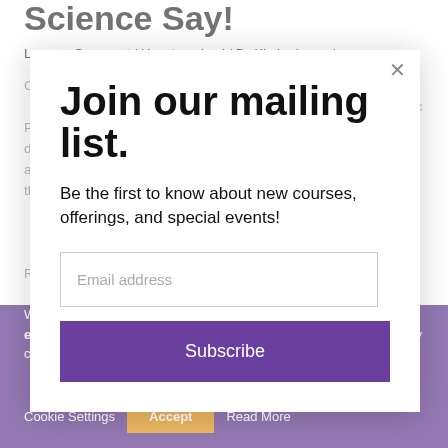Science Say!
Leave a Comment / Uncategorized / By Kimberly.searl
Chronic Pelvic Pain Syndrome (CPPS) is pain in the area below the navel and lasting six months or longer. Chronic Pelvic Pain Syndrome can be its own condition or symptom of another disease. CPPS is a complicated situation requiring a combination approach including surgery, supportive therapy massage and...
Read More »
We use cookies on our website to give you the most relevant experience by remembering your preferences and repeat visits. By clicking "Accept", you consent to the use of all the cookies.
Cookie Settings    Accept    Read More
Join our mailing list.
Be the first to know about new courses, offerings, and special events!
Email address
Subscribe